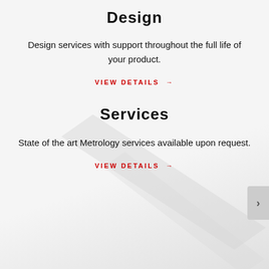Design
Design services with support throughout the full life of your product.
VIEW DETAILS →
Services
State of the art Metrology services available upon request.
VIEW DETAILS →